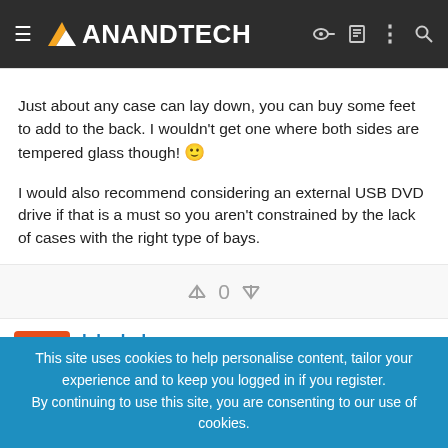AnandTech
Just about any case can lay down, you can buy some feet to add to the back. I wouldn't get one where both sides are tempered glass though! 🙂
I would also recommend considering an external USB DVD drive if that is a must so you aren't constrained by the lack of cases with the right type of bays.
[Figure (other): Vote widget showing up arrow, 0 count, and down arrow]
lakedude
This site uses cookies to help personalise content, tailor your experience and to keep you logged in if you register. By continuing to use this site, you are consenting to our use of cookies.